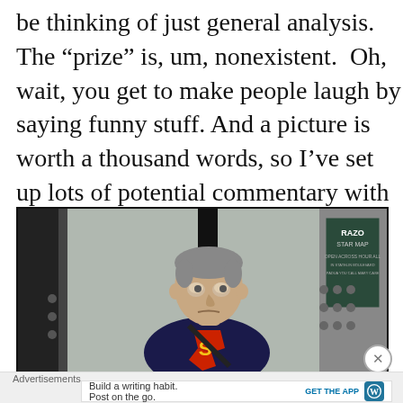be thinking of just general analysis. The “prize” is, um, nonexistent. Oh, wait, you get to make people laugh by saying funny stuff. And a picture is worth a thousand words, so I’ve set up lots of potential commentary with the image below. Have fun! 🙂
[Figure (photo): A man wearing a Superman t-shirt standing in front of a building with glass doors and a movie poster visible in the background.]
Advertisements
Build a writing habit. Post on the go.
GET THE APP